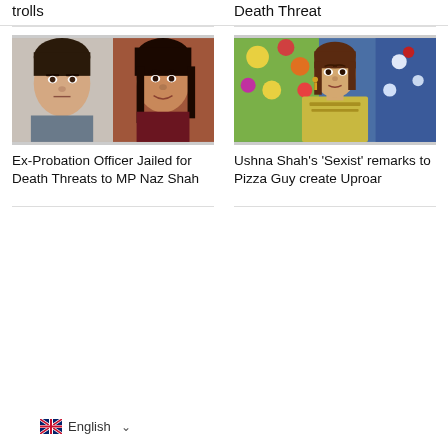trolls
Death Threat
[Figure (photo): Two women side by side — one with a stern expression (mugshot style) and one smiling woman in a dark top]
Ex-Probation Officer Jailed for Death Threats to MP Naz Shah
[Figure (photo): A young woman in a light green/gold embroidered outfit standing in front of a colorful floral backdrop]
Ushna Shah's 'Sexist' remarks to Pizza Guy create Uproar
English